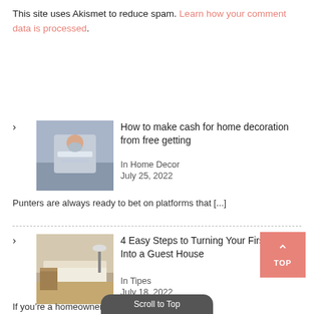This site uses Akismet to reduce spam. Learn how your comment data is processed.
[Figure (photo): Person wearing face mask sitting on sofa reading a tablet]
How to make cash for home decoration from free getting
In Home Decor
July 25, 2022
Punters are always ready to bet on platforms that [...]
[Figure (photo): Modern bedroom interior with white bedding and wooden floor]
4 Easy Steps to Turning Your First Home Into a Guest House
In Tipes
July 18, 2022
If you’re a homeowner and you recently bought